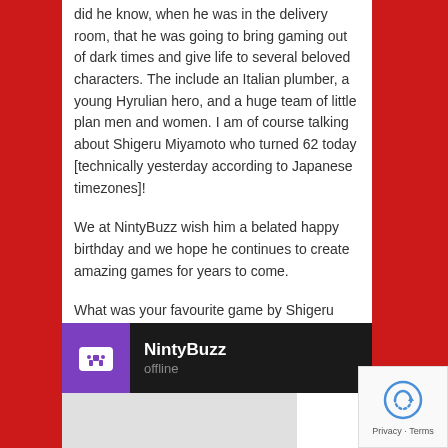did he know, when he was in the delivery room, that he was going to bring gaming out of dark times and give life to several beloved characters. The include an Italian plumber, a young Hyrulian hero, and a huge team of little plan men and women. I am of course talking about Shigeru Miyamoto who turned 62 today [technically yesterday according to Japanese timezones]!
We at NintyBuzz wish him a belated happy birthday and we hope he continues to create amazing games for years to come.
What was your favourite game by Shigeru Miyamoto? Tell us in the comments below!
NintyBuzz offline